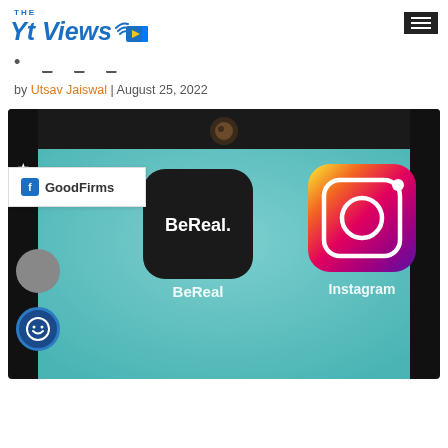The Yt Views - logo and navigation
by Utsav Jaiswal | August 25, 2022
[Figure (photo): Phone screen showing BeReal and Instagram app icons on a teal/light blue background, with a GoodFirms badge overlay in the bottom-left corner of the image area]